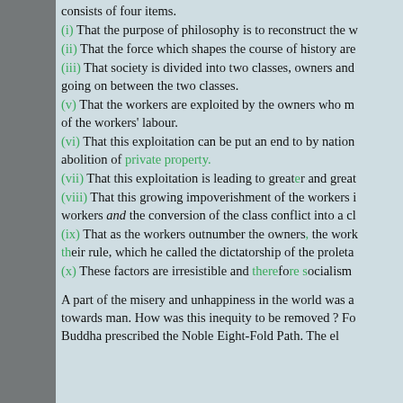consists of four items.
(i) That the purpose of philosophy is to reconstruct the w
(ii) That the force which shapes the course of history are
(iii) That society is divided into two classes, owners and going on between the two classes.
(v) That the workers are exploited by the owners who m of the workers' labour.
(vi) That this exploitation can be put an end to by nation abolition of private property.
(vii) That this exploitation is leading to greater and great
(viii) That this growing impoverishment of the workers i workers and the conversion of the class conflict into a cl
(ix) That as the workers outnumber the owners, the work their rule, which he called the dictatorship of the proleta
(x) These factors are irresistible and therefore socialism
A part of the misery and unhappiness in the world was a towards man. How was this inequity to be removed ? Fo Buddha prescribed the Noble Eight-Fold Path. The el